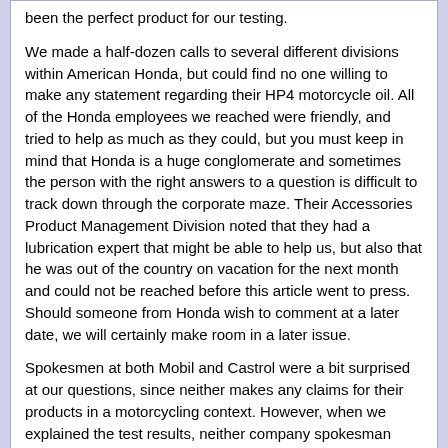been the perfect product for our testing.
We made a half-dozen calls to several different divisions within American Honda, but could find no one willing to make any statement regarding their HP4 motorcycle oil. All of the Honda employees we reached were friendly, and tried to help as much as they could, but you must keep in mind that Honda is a huge conglomerate and sometimes the person with the right answers to a question is difficult to track down through the corporate maze. Their Accessories Product Management Division noted that they had a lubrication expert that might be able to help us, but also that he was out of the country on vacation for the next month and could not be reached before this article went to press. Should someone from Honda wish to comment at a later date, we will certainly make room in a later issue.
Spokesmen at both Mobil and Castrol were a bit surprised at our questions, since neither makes any claims for their products in a motorcycling context. However, when we explained the test results, neither company spokesman seemed the least bit surprised, both noting that automotive oils in general had made a quantum leap in viscosity retention technology in the past five or six years. Both companies claimed to be using the very latest in shear-stable polymers for viscosity retention, and while claiming no knowledge of the motorcycle-specific oils' formula, expressed serious doubt that they could contain some type of additive that was superior in this context to that already being used in their automotive oils. Our test results support their assertion.
THE TEST
As we noted earlier, the viscosity-retention figures reported in the table